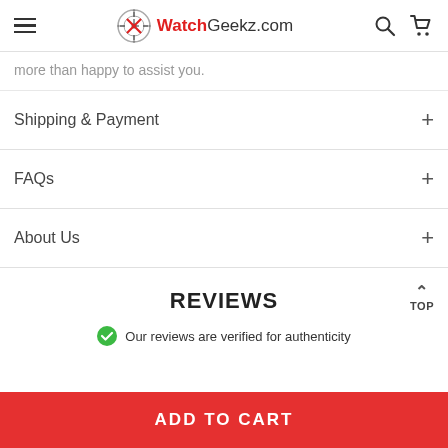WatchGeekz.com
more than happy to assist you.
Shipping & Payment
FAQs
About Us
REVIEWS
Our reviews are verified for authenticity
ADD TO CART